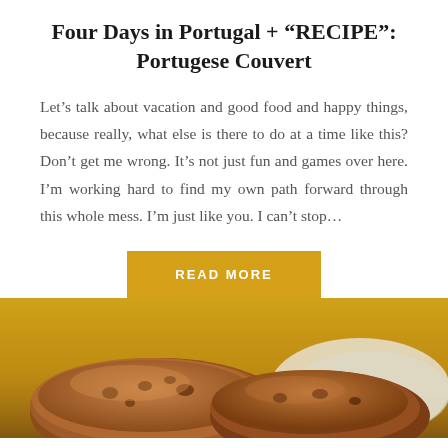Four Days in Portugal + “RECIPE”: Portugese Couvert
Let’s talk about vacation and good food and happy things, because really, what else is there to do at a time like this? Don’t get me wrong. It’s not just fun and games over here. I’m working hard to find my own path forward through this whole mess. I’m just like you. I can’t stop...
READ MORE
[Figure (photo): Photo of Portuguese bread rolls (couvert) on a wooden surface with a cloth, warm golden-brown tones]